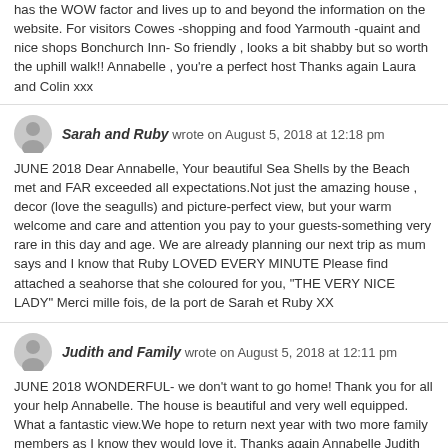has the WOW factor and lives up to and beyond the information on the website. For visitors Cowes -shopping and food Yarmouth -quaint and nice shops Bonchurch Inn- So friendly , looks a bit shabby but so worth the uphill walk!! Annabelle , you're a perfect host Thanks again Laura and Colin xxx
Sarah and Ruby wrote on August 5, 2018 at 12:18 pm
JUNE 2018 Dear Annabelle, Your beautiful Sea Shells by the Beach met and FAR exceeded all expectations.Not just the amazing house , decor (love the seagulls) and picture-perfect view, but your warm welcome and care and attention you pay to your guests-something very rare in this day and age. We are already planning our next trip as mum says and I know that Ruby LOVED EVERY MINUTE Please find attached a seahorse that she coloured for you, "THE VERY NICE LADY" Merci mille fois, de la port de Sarah et Ruby XX
Judith and Family wrote on August 5, 2018 at 12:11 pm
JUNE 2018 WONDERFUL- we don't want to go home! Thank you for all your help Annabelle. The house is beautiful and very well equipped. What a fantastic view.We hope to return next year with two more family members as I know they would love it. Thanks again Annabelle Judith
Susan and Colin wrote on August 5, 2018 at 11:57 am
APRIL 2018 Thank you for your warm welcome to this lovely area of the Island. Sea Shells is indeed a special place and we